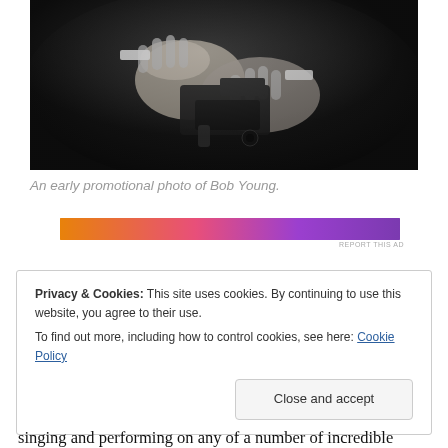[Figure (photo): Black and white promotional photo showing hands holding a gun against a dark background, close-up shot]
An early promotional photo of Bob Young.
[Figure (other): Colorful advertisement banner with orange to purple gradient]
REPORT THIS AD
Privacy & Cookies: This site uses cookies. By continuing to use this website, you agree to their use.
To find out more, including how to control cookies, see here: Cookie Policy
Close and accept
singing and performing on any of a number of incredible